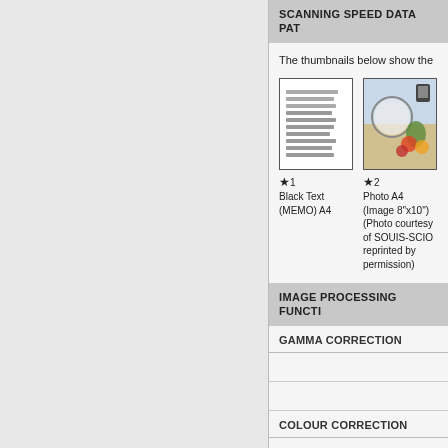SCANNING SPEED DATA PAT…
The thumbnails below show the…
[Figure (illustration): Thumbnail 1: Black Text (MEMO) A4 - shows a document with text lines]
[Figure (photo): Thumbnail 2: Photo A4 (Image 8'x10') (Photo courtesy of SOUIS-SCIO reprinted by permission)]
IMAGE PROCESSING FUNCTI…
GAMMA CORRECTION
COLOUR CORRECTION